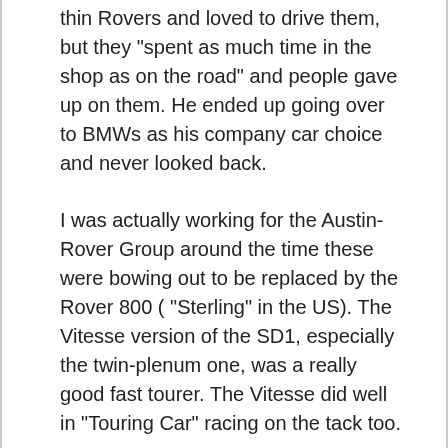thin Rovers and loved to drive them, but they “spent as much time in the shop as on the road” and people gave up on them. He ended up going over to BMWs as his company car choice and never looked back.
I was actually working for the Austin-Rover Group around the time these were bowing out to be replaced by the Rover 800 ( “Sterling” in the US). The Vitesse version of the SD1, especially the twin-plenum one, was a really good fast tourer. The Vitesse did well in “Touring Car” racing on the tack too.
I agree, that this car would have had EFI from new ( or at least all the UK models did) so maybe this one has been converted later, as suggested above. The Rover 3.5 V8 (based on the old 215 Buick design, licensed from GM many years